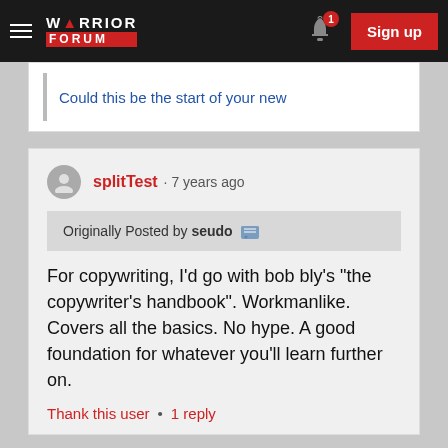Warrior Forum — Sign up
Could this be the start of your new
splitTest · 7 years ago
Originally Posted by seudo
For copywriting, I'd go with bob bly's "the copywriter's handbook". Workmanlike. Covers all the basics. No hype. A good foundation for whatever you'll learn further on.
Thank this user • 1 reply